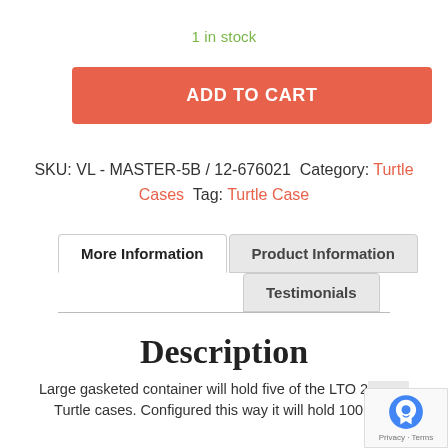1 in stock
ADD TO CART
SKU: VL - MASTER-5B / 12-676021 Category: Turtle Cases Tag: Turtle Case
More Information
Product Information
Testimonials
Description
Large gasketed container will hold five of the LTO 2... Turtle cases. Configured this way it will hold 100 LTO...